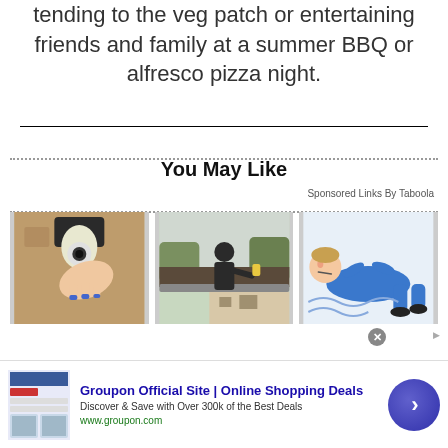tending to the veg patch or entertaining friends and family at a summer BBQ or alfresco pizza night.
You May Like
Sponsored Links By Taboola
[Figure (photo): Three advertisement images in a row: a security camera being installed in a light socket, a person on a rooftop cleaning gutters, and an illustrated cartoon of a man lying down in a blue suit.]
[Figure (infographic): Groupon advertisement banner: Groupon Official Site | Online Shopping Deals. Discover & Save with Over 300k of the Best Deals. www.groupon.com. Shows Groupon website screenshot thumbnail, and a dark blue circle button with arrow.]